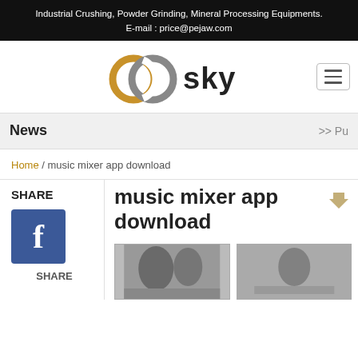Industrial Crushing, Powder Grinding, Mineral Processing Equipments.
E-mail : price@pejaw.com
[Figure (logo): OOsky logo with interlocked circular rings in brown/gray and SKY text in dark]
News >> Pu
Home / music mixer app download
music mixer app download
[Figure (photo): Facebook share button (blue square with white f)]
SHARE
[Figure (photo): Two industrial crusher machine photos side by side]